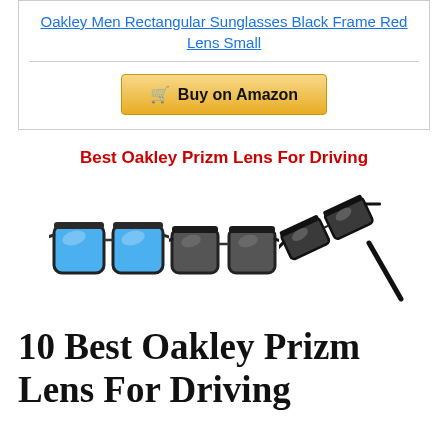Oakley Men Rectangular Sunglasses Black Frame Red Lens Small
Buy on Amazon
Best Oakley Prizm Lens For Driving
[Figure (photo): Three sunglasses: blue mirrored square lens, dark square lens, and black rectangular sport frames]
10 Best Oakley Prizm Lens For Driving Reviewed In 2023